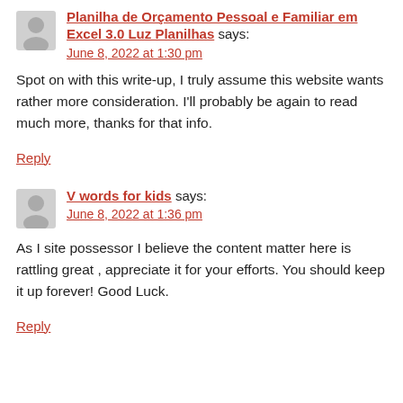Planilha de Orçamento Pessoal e Familiar em Excel 3.0 Luz Planilhas says:
June 8, 2022 at 1:30 pm
Spot on with this write-up, I truly assume this website wants rather more consideration. I'll probably be again to read much more, thanks for that info.
Reply
V words for kids says:
June 8, 2022 at 1:36 pm
As I site possessor I believe the content matter here is rattling great , appreciate it for your efforts. You should keep it up forever! Good Luck.
Reply